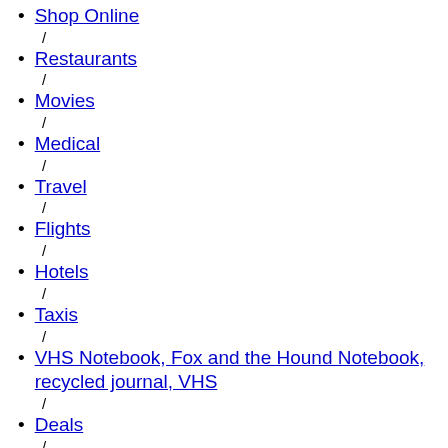Shop Online
Restaurants
Movies
Medical
Travel
Flights
Hotels
Taxis
VHS Notebook, Fox and the Hound Notebook, recycled journal, VHS
Deals
Daily Needs
Flowers